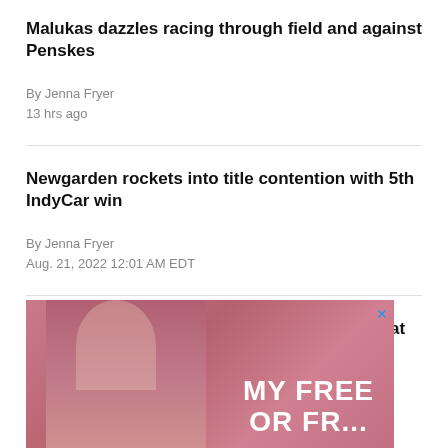Malukas dazzles racing through field and against Penskes
By Jenna Fryer
13 hrs ago
Newgarden rockets into title contention with 5th IndyCar win
By Jenna Fryer
Aug. 21, 2022 12:01 AM EDT
Matt Hagan tops NHRA Funny Car qualifying at Brainerd
Aug. 20, 2022 07:33 PM EDT
[Figure (photo): Advertisement banner showing a woman with highlighted hair against a pink/red background with text 'MY FREE' partially visible, with a close X button in the top right corner.]